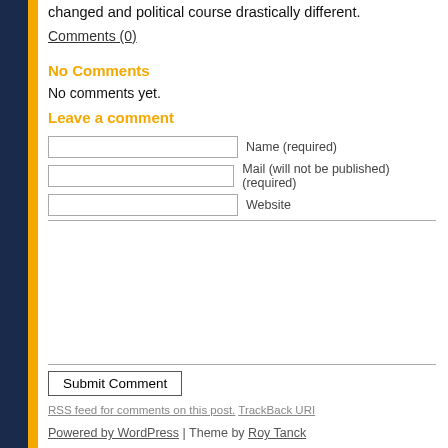changed and political course drastically different.
Comments (0)
No Comments
No comments yet.
Leave a comment
Name (required)
Mail (will not be published) (required)
Website
Submit Comment
RSS feed for comments on this post. TrackBack URI
Powered by WordPress | Theme by Roy Tanck